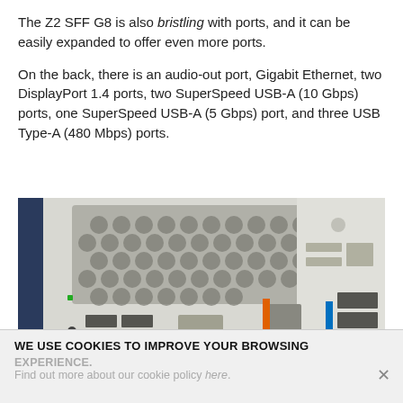The Z2 SFF G8 is also bristling with ports, and it can be easily expanded to offer even more ports.
On the back, there is an audio-out port, Gigabit Ethernet, two DisplayPort 1.4 ports, two SuperSpeed USB-A (10 Gbps) ports, one SuperSpeed USB-A (5 Gbps) port, and three USB Type-A (480 Mbps) ports.
[Figure (photo): Back panel of HP Z2 SFF G8 workstation showing ports including USB ports with orange and blue color coding, Ethernet port, hexagonal vent grille, and DisplayPort connectors.]
WE USE COOKIES TO IMPROVE YOUR BROWSING EXPERIENCE.
Find out more about our cookie policy here.